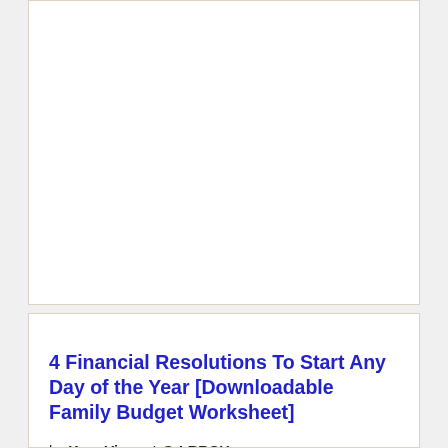[Figure (other): White blank card area at top of page]
4 Financial Resolutions To Start Any Day of the Year [Downloadable Family Budget Worksheet]
by Kara Vincent @ LRRCU